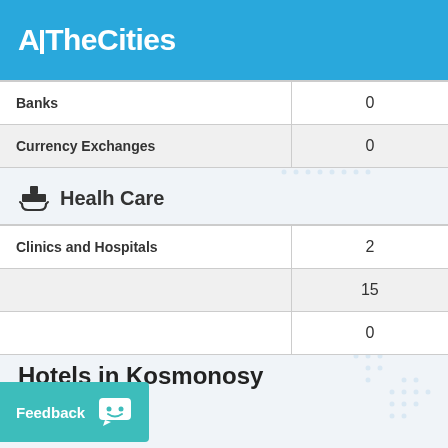AllTheCities
| Category | Count |
| --- | --- |
| Banks | 0 |
| Currency Exchanges | 0 |
Healh Care
| Category | Count |
| --- | --- |
| Clinics and Hospitals | 2 |
|  | 15 |
|  | 0 |
Hotels in Kosmonosy